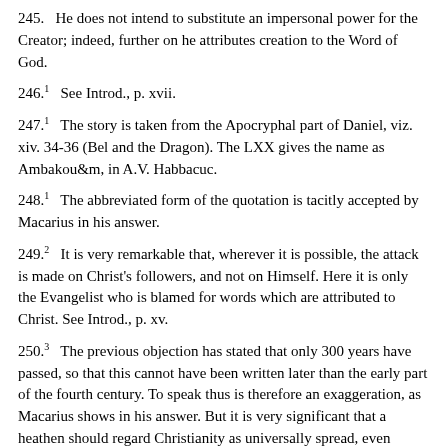245. He does not intend to substitute an impersonal power for the Creator; indeed, further on he attributes creation to the Word of God.
246. [1] See Introd., p. xvii.
247. [1] The story is taken from the Apocryphal part of Daniel, viz. xiv. 34-36 (Bel and the Dragon). The LXX gives the name as Ambakou&m, in A.V. Habbacuc.
248. [1] The abbreviated form of the quotation is tacitly accepted by Macarius in his answer.
249. [2] It is very remarkable that, wherever it is possible, the attack is made on Christ's followers, and not on Himself. Here it is only the Evangelist who is blamed for words which are attributed to Christ. See Introd., p. xv.
250. [3] The previous objection has stated that only 300 years have passed, so that this cannot have been written later than the early part of the fourth century. To speak thus is therefore an exaggeration, as Macarius shows in his answer. But it is very significant that a heathen should regard Christianity as universally spread, even before it became a lawful religion.